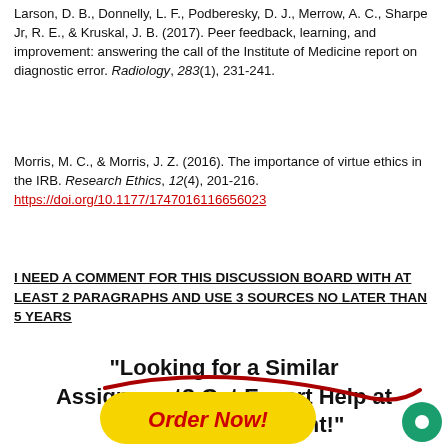Larson, D. B., Donnelly, L. F., Podberesky, D. J., Merrow, A. C., Sharpe Jr, R. E., & Kruskal, J. B. (2017). Peer feedback, learning, and improvement: answering the call of the Institute of Medicine report on diagnostic error. Radiology, 283(1), 231-241.
Morris, M. C., & Morris, J. Z. (2016). The importance of virtue ethics in the IRB. Research Ethics, 12(4), 201-216. https://doi.org/10.1177/1747016116656023
I NEED A COMMENT FOR THIS DISCUSSION BOARD WITH AT LEAST 2 PARAGRAPHS AND USE 3 SOURCES NO LATER THAN 5 YEARS
"Looking for a Similar Assignment? Get Expert Help at an Amazing Discount!"
[Figure (illustration): Yellow oval Order Now button with red swish decoration and a green circle chat icon in the bottom right corner]